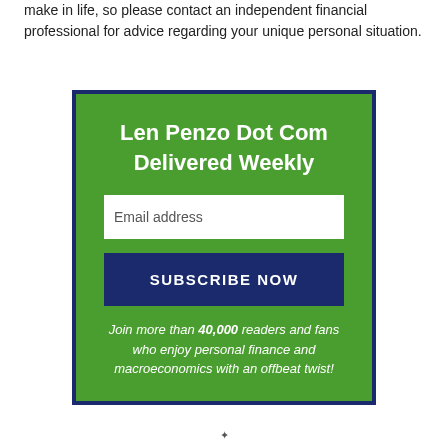make in life, so please contact an independent financial professional for advice regarding your unique personal situation.
[Figure (infographic): Green subscription box with dark navy border. Contains heading 'Len Penzo Dot Com Delivered Weekly', an email address input field, a 'SUBSCRIBE NOW' button, and italic text: 'Join more than 40,000 readers and fans who enjoy personal finance and macroeconomics with an offbeat twist!']